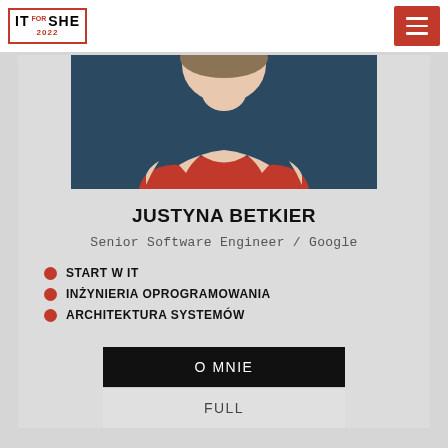IT FOR SHE 2022
[Figure (photo): Portrait photo of Justyna Betkier wearing a red top against a dark blue background]
JUSTYNA BETKIER
Senior Software Engineer / Google
START W IT
INŻYNIERIA OPROGRAMOWANIA
ARCHITEKTURA SYSTEMÓW
O MNIE
FULL